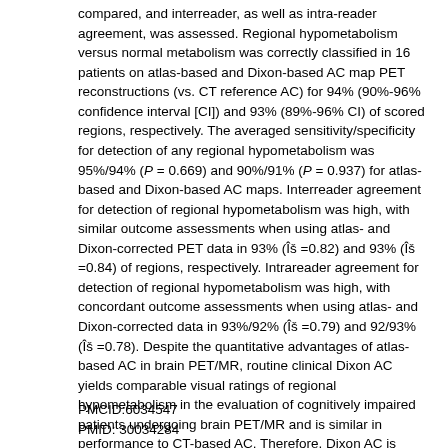compared, and interreader, as well as intra-reader agreement, was assessed. Regional hypometabolism versus normal metabolism was correctly classified in 16 patients on atlas-based and Dixon-based AC map PET reconstructions (vs. CT reference AC) for 94% (90%-96% confidence interval [CI]) and 93% (89%-96% CI) of scored regions, respectively. The averaged sensitivity/specificity for detection of any regional hypometabolism was 95%/94% (P = 0.669) and 90%/91% (P = 0.937) for atlas-based and Dixon-based AC maps. Interreader agreement for detection of regional hypometabolism was high, with similar outcome assessments when using atlas- and Dixon-corrected PET data in 93% (Îš =0.82) and 93% (Îš =0.84) of regions, respectively. Intrareader agreement for detection of regional hypometabolism was high, with concordant outcome assessments when using atlas- and Dixon-corrected data in 93%/92% (Îš =0.79) and 92/93% (Îš =0.78). Despite the quantitative advantages of atlas-based AC in brain PET/MR, routine clinical Dixon AC yields comparable visual ratings of regional hypometabolism in the evaluation of cognitively impaired patients undergoing brain PET/MR and is similar in performance to CT-based AC. Therefore, Dixon AC is acceptable for the routine clinical evaluation of dementia syndromes.
PMCID:6034547
PMID: 30034284